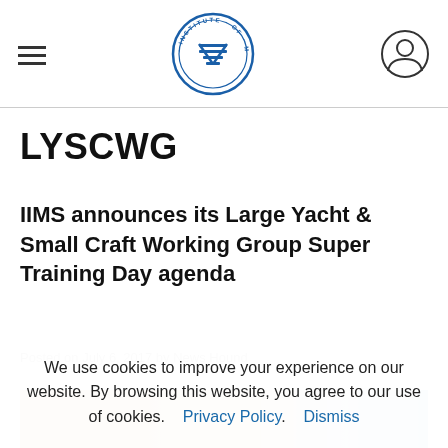IIMS Institute of Marine Surveying — navigation header with hamburger menu, logo, and user icon
LYSCWG
IIMS announces its Large Yacht & Small Craft Working Group Super Training Day agenda
Posted on July 6, 2017 by News Hound
[Figure (photo): Partial photograph of boats/marine scene visible at bottom of page]
We use cookies to improve your experience on our website. By browsing this website, you agree to our use of cookies. Privacy Policy. Dismiss